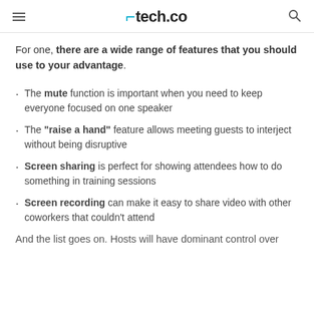tech.co
For one, there are a wide range of features that you should use to your advantage.
The mute function is important when you need to keep everyone focused on one speaker
The "raise a hand" feature allows meeting guests to interject without being disruptive
Screen sharing is perfect for showing attendees how to do something in training sessions
Screen recording can make it easy to share video with other coworkers that couldn't attend
And the list goes on. Hosts will have dominant control over